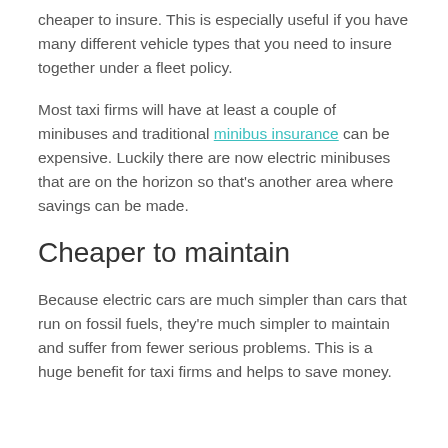cheaper to insure. This is especially useful if you have many different vehicle types that you need to insure together under a fleet policy.
Most taxi firms will have at least a couple of minibuses and traditional minibus insurance can be expensive. Luckily there are now electric minibuses that are on the horizon so that's another area where savings can be made.
Cheaper to maintain
Because electric cars are much simpler than cars that run on fossil fuels, they're much simpler to maintain and suffer from fewer serious problems. This is a huge benefit for taxi firms and helps to save money.